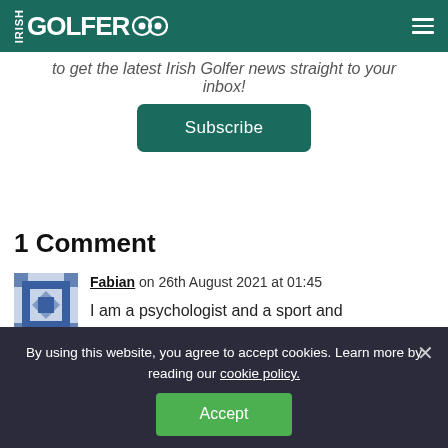IRISH GOLFER
to get the latest Irish Golfer news straight to your inbox!
Subscribe
1 Comment
Fabian on 26th August 2021 at 01:45
I am a psychologist and a sport and performance psychologist, not a guru. 7 years of college to
By using this website, you agree to accept cookies. Learn more by reading our cookie policy.
Accept